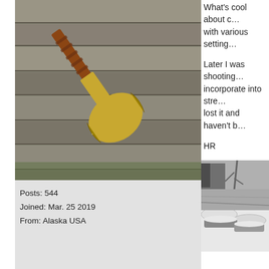[Figure (photo): A brass tomahawk or axe with a leather-wrapped handle, resting on weathered wooden planks, photographed outdoors.]
Posts: 544
Joined: Mar. 25 2019
From: Alaska USA
What’s cool about c… with various setting…
Later I was shooting… incorporate into stre… lost it and haven’t b…
HR
[Figure (photo): A black and white winter landscape photo showing snow-covered ground and structures.]